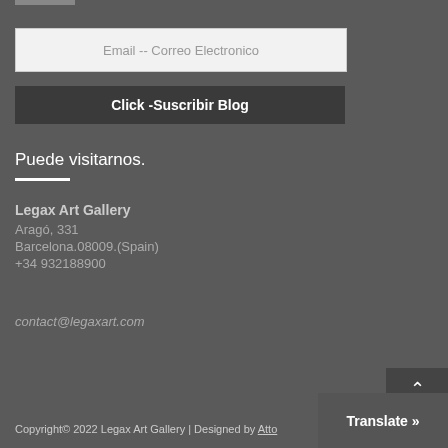Email  -- Correo Electronico
Click -Suscribir Blog
Puede visitarnos.
Legax Art Gallery
Aragó, 331
Barcelona.08009.(Spain)
+34 932188900
contact@legaxart.com
Copyright© 2022 Legax Art Gallery | Designed by Atto
Translate »